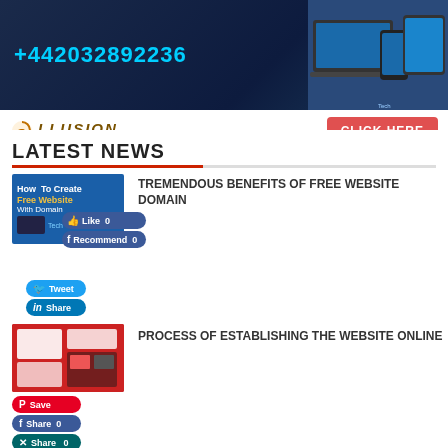[Figure (screenshot): Banner advertisement for Illusion Groups showing phone number +442032892236, devices (laptop, phone, tablet), Illusion Groups logo, and a red CLICK HERE button]
LATEST NEWS
[Figure (screenshot): Thumbnail image: 'How To Create Free Website With Domain' on blue background]
TREMENDOUS BENEFITS OF FREE WEBSITE DOMAIN
[Figure (screenshot): Thumbnail image showing website templates on red/dark background]
PROCESS OF ESTABLISHING THE WEBSITE ONLINE
HOW TO GENERATE THE FREE WEBSITE